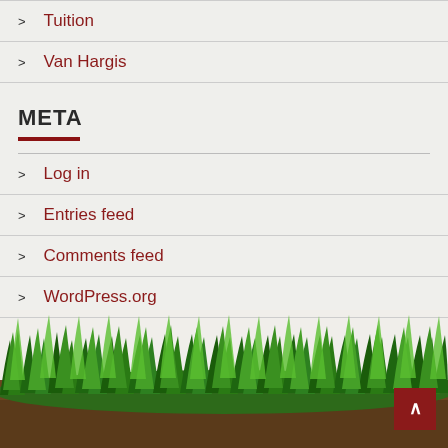Tuition
Van Hargis
META
Log in
Entries feed
Comments feed
WordPress.org
[Figure (illustration): Photograph of green grass with soil at the bottom, used as a decorative page footer background.]